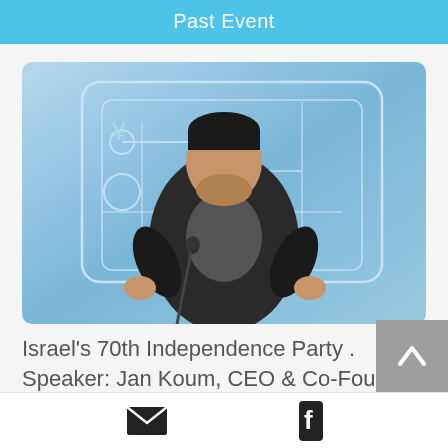Past Event
[Figure (photo): A man in a dark blazer and grey shirt speaking at a podium with a microphone, against a blue technology-themed background with circuit/tablet graphics.]
Israel's 70th Independence Party . Speaker: Jan Koum, CEO & Co-Founder of
Email icon | Facebook icon